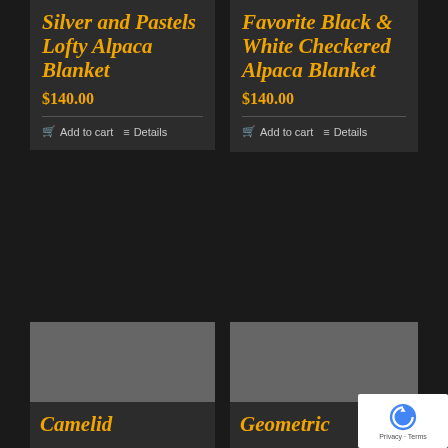Silver and Pastels Lofty Alpaca Blanket
$140.00
Add to cart   Details
Favorite Black & White Checkered Alpaca Blanket
$140.00
Add to cart   Details
[Figure (photo): Product image placeholder for bottom-left product card (gray rectangle)]
Camelid
[Figure (photo): Product image placeholder for bottom-right product card (gray rectangle)]
Geometric